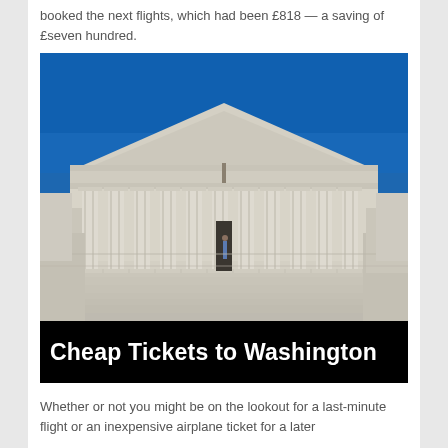booked the next flights, which had been £818 — a saving of £seven hundred.
[Figure (photo): Photograph of the United States Supreme Court building facade, showing classic neoclassical architecture with tall columns, pediment with sculptural frieze, and wide marble steps. A black banner at the bottom reads 'Cheap Tickets to Washington' in bold white text.]
Cheap Tickets to Washington
Whether or not you might be on the lookout for a last-minute flight or an inexpensive airplane ticket for a later